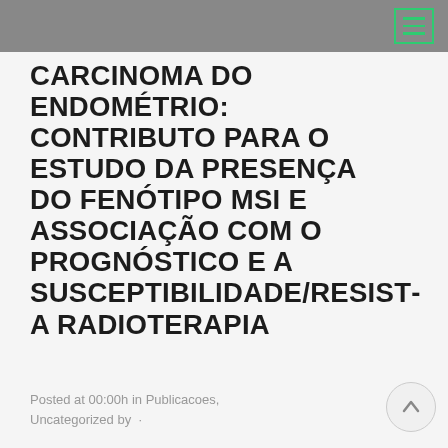CARCINOMA DO ENDOMÉTRIO: CONTRIBUTO PARA O ESTUDO DA PRESENÇA DO FENÓTIPO MSI E ASSOCIAÇÃO COM O PROGNÓSTICO E A SUSCEPTIBILIDADE/RESISTÊNCIA A RADIOTERAPIA
Posted at 00:00h in Publicacoes, Uncategorized by ·